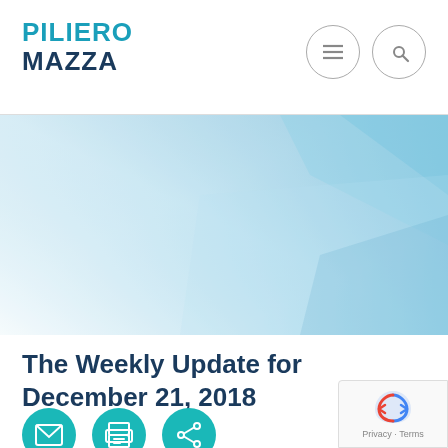[Figure (logo): Piliero Mazza law firm logo with teal and dark blue text]
[Figure (illustration): Abstract blue and white gradient banner with geometric shapes]
The Weekly Update for December 21, 2018
[Figure (infographic): Three teal circular icon buttons: email, print, and share]